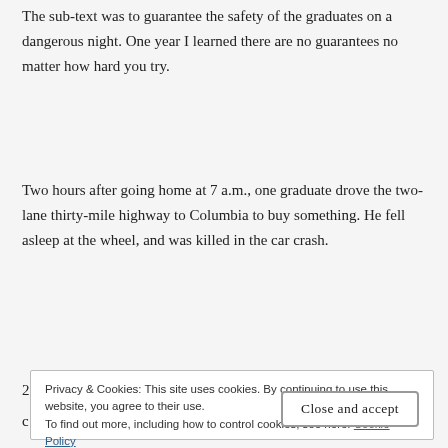The sub-text was to guarantee the safety of the graduates on a dangerous night. One year I learned there are no guarantees no matter how hard you try.
Two hours after going home at 7 a.m., one graduate drove the two-lane thirty-mile highway to Columbia to buy something. He fell asleep at the wheel, and was killed in the car crash.
Privacy & Cookies: This site uses cookies. By continuing to use this website, you agree to their use.
To find out more, including how to control cookies, see here: Cookie Policy
Close and accept